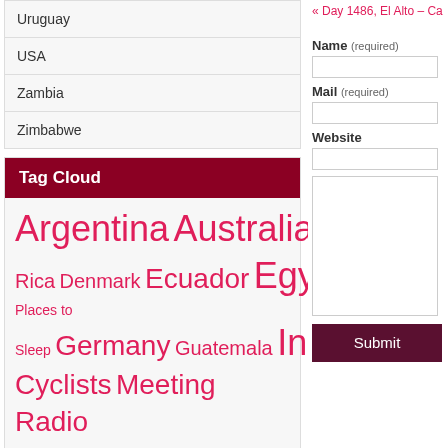Uruguay
USA
Zambia
Zimbabwe
Tag Cloud
Argentina Australia Bolivia Bulgaria Canada Chile Colombia Costa Rica Denmark Ecuador Egypt Ethiopia France Funny Places to Sleep Germany Guatemala India Indonesia Jordan Kenya Malawi Malaysia Meeting Cyclists Meeting Radio Amateurs Mexico Morocco Mountaineering Namibia New Zealand Nicaragua Panama Peru Photobanner
« Day 1486, El Alto – Ca…
Name (required)
Mail (required)
Website
Submit